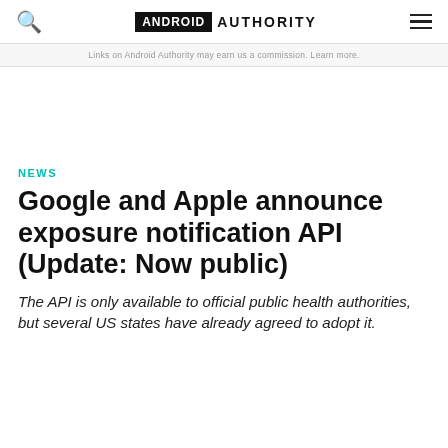ANDROID AUTHORITY
Links on Android Authority may earn us a commission. Learn more.
NEWS
Google and Apple announce exposure notification API (Update: Now public)
The API is only available to official public health authorities, but several US states have already agreed to adopt it.